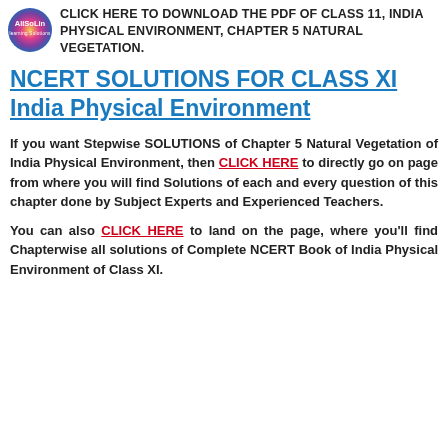CLICK HERE TO DOWNLOAD THE PDF OF CLASS 11, INDIA PHYSICAL ENVIRONMENT, CHAPTER 5 NATURAL VEGETATION.
NCERT SOLUTIONS FOR CLASS XI India Physical Environment
If you want Stepwise SOLUTIONS of Chapter 5 Natural Vegetation of India Physical Environment, then CLICK HERE to directly go on page from where you will find Solutions of each and every question of this chapter done by Subject Experts and Experienced Teachers.
You can also CLICK HERE to land on the page, where you'll find Chapterwise all solutions of Complete NCERT Book of India Physical Environment of Class XI.